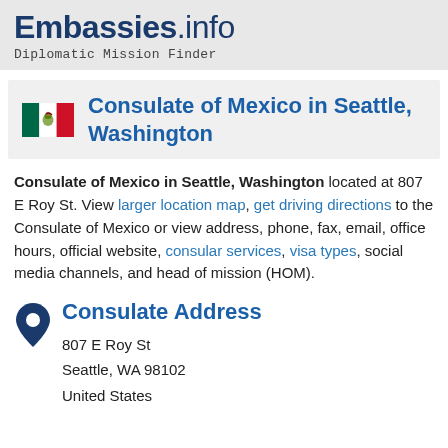Embassies.info Diplomatic Mission Finder
Consulate of Mexico in Seattle, Washington
Consulate of Mexico in Seattle, Washington located at 807 E Roy St. View larger location map, get driving directions to the Consulate of Mexico or view address, phone, fax, email, office hours, official website, consular services, visa types, social media channels, and head of mission (HOM).
Consulate Address
807 E Roy St
Seattle, WA 98102
United States